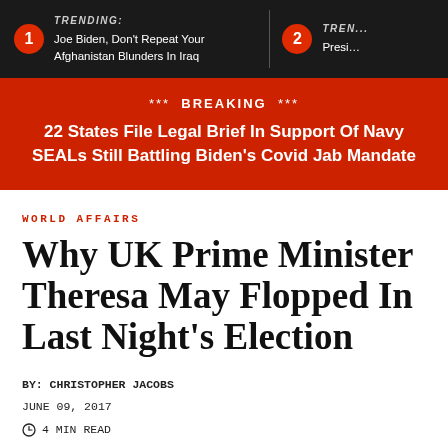TRENDING: Joe Biden, Don't Repeat Your Afghanistan Blunders In Iraq
2 TREN... Presi...
*** BREAKING *** 22 States File Legal Brief In Support Of Navy SEALs Still Battling Biden's Covid Jab Mandate
WORLD AFFAIRS
Why UK Prime Minister Theresa May Flopped In Last Night's Election
BY: CHRISTOPHER JACOBS
JUNE 09, 2017
4 MIN READ